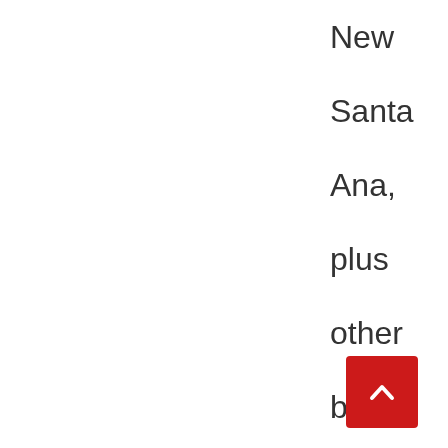New Santa Ana, plus other blogs including New Anaheim, New Fullerton and the Irvine News Blog, as well as the...